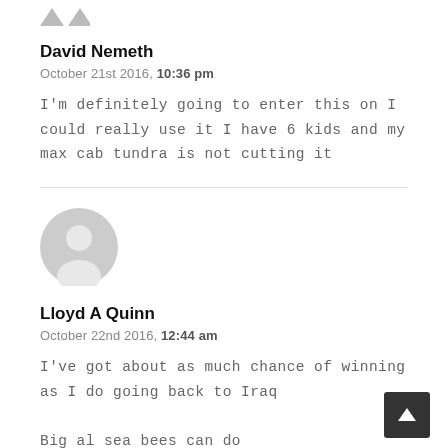[Figure (other): Two grey downward-pointing arrow icons at top]
David Nemeth
October 21st 2016, 10:36 pm
I'm definitely going to enter this on I could really use it I have 6 kids and my max cab tundra is not cutting it
[Figure (photo): Grey default user avatar icon (silhouette of a person)]
Lloyd A Quinn
October 22nd 2016, 12:44 am
I've got about as much chance of winning as I do going back to Iraq

Big al sea bees can do